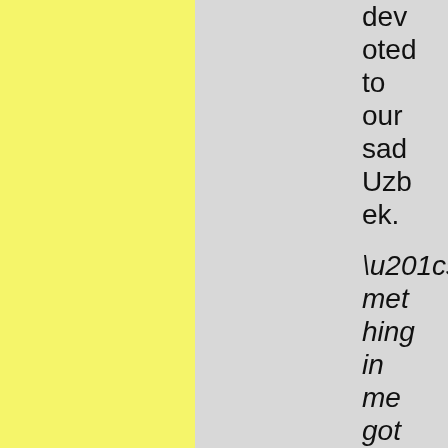devoted to our sad Uzbek.
“something in me got froze so bad - the sun melted it befo